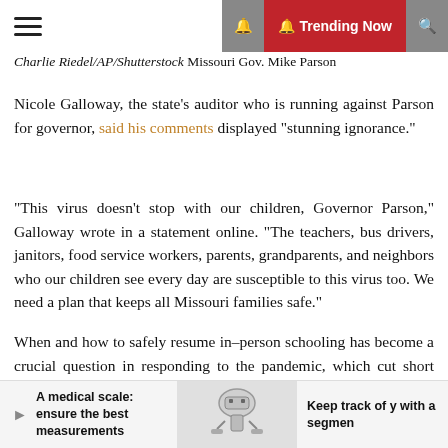Trending Now
Charlie Riedel/AP/Shutterstock Missouri Gov. Mike Parson
Nicole Galloway, the state’s auditor who is running against Parson for governor, said his comments displayed “stunning ignorance.”
“This virus doesn’t stop with our children, Governor Parson,” Galloway wrote in a statement online. “The teachers, bus drivers, janitors, food service workers, parents, grandparents, and neighbors who our children see every day are susceptible to this virus too. We need a plan that keeps all Missouri families safe.”
When and how to safely resume in–person schooling has become a crucial question in responding to the pandemic, which cut short classes for all ages starting in March. President Donald Trump and his administration have strongly urged institutions to reopen in the fall, despite
A medical scale: ensure the best measurements | Keep track of y with a segmen